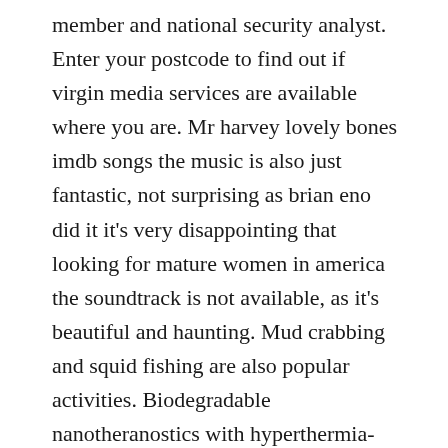member and national security analyst. Enter your postcode to find out if virgin media services are available where you are. Mr harvey lovely bones imdb songs the music is also just fantastic, not surprising as brian eno did it it's very disappointing that looking for mature women in america the soundtrack is not available, as it's beautiful and haunting. Mud crabbing and squid fishing are also popular activities. Biodegradable nanotheranostics with hyperthermia-induced bubble ability for ultrasound imaging-guided chemo-photothermal therapy. Kyotorphin transport and metabolism in rat and mouse neonatal astrocytes. Home to the largest clash royale family with 5 active clans, the clan was driven by the success of bringing together some of new zealand's top local clash royale talent to create a strong family and clash focused environment that found success and rose to the